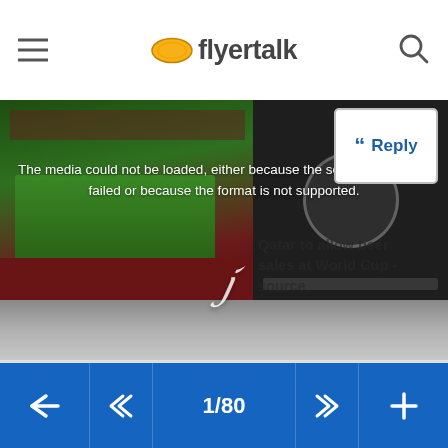flyertalk
[Figure (screenshot): FlyerTalk website header with hamburger menu icon on the left, FlyerTalk logo in center, and search icon on the right]
[Figure (screenshot): Reply button with quotation mark icon and Reply label, in upper right]
[Figure (screenshot): Embedded video player showing a soccer stadium image on the left and a dark blurred panel on the right, with an error overlay message: 'The media could not be loaded, either because the server or network failed or because the format is not supported.' An X close button is visible. Background text reads 'Qatar to allow beer sales at World Cup - source'.]
1/80